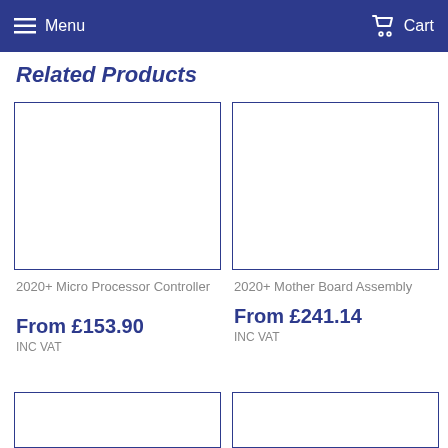Menu   Cart
Related Products
[Figure (photo): Empty product image placeholder box for 2020+ Micro Processor Controller]
2020+ Micro Processor Controller
From £153.90
INC VAT
[Figure (photo): Empty product image placeholder box for 2020+ Mother Board Assembly]
2020+ Mother Board Assembly
From £241.14
INC VAT
[Figure (photo): Empty product image placeholder box, bottom left]
[Figure (photo): Empty product image placeholder box, bottom right]